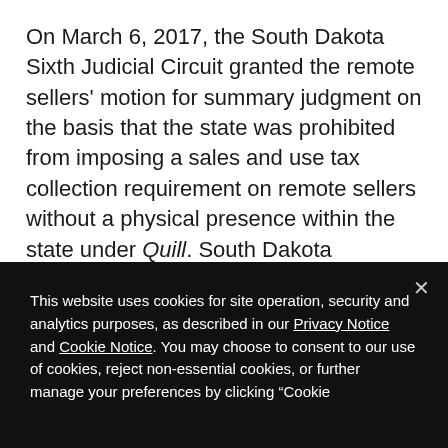On March 6, 2017, the South Dakota Sixth Judicial Circuit granted the remote sellers' motion for summary judgment on the basis that the state was prohibited from imposing a sales and use tax collection requirement on remote sellers without a physical presence within the state under Quill. South Dakota appealed the decision to the South Dakota Supreme Court, which affirmed the trial court's decision. The state is expected to seek U.S. Supreme Court review of the physical presence standard by the Dec. 12, 2017, deadline (plus potential extension of
This website uses cookies for site operation, security and analytics purposes, as described in our Privacy Notice and Cookie Notice. You may choose to consent to our use of cookies, reject non-essential cookies, or further manage your preferences by clicking "Cookie